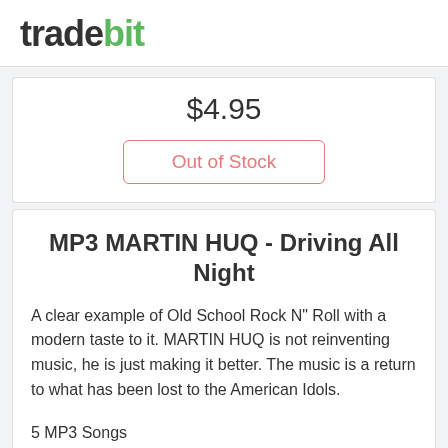tradebit
$4.95
Out of Stock
MP3 MARTIN HUQ - Driving All Night
A clear example of Old School Rock N" Roll with a modern taste to it. MARTIN HUQ is not reinventing music, he is just making it better. The music is a return to what has been lost to the American Idols.
5 MP3 Songs
ROCK: Classic Rock, ROCK: Grunge